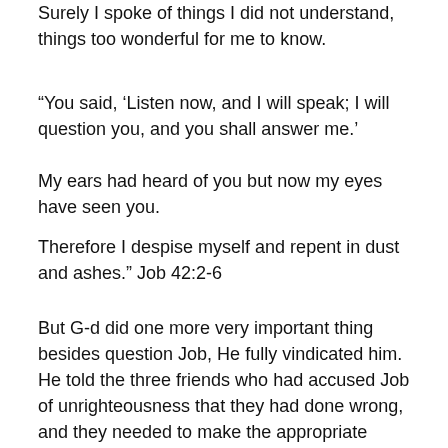Surely I spoke of things I did not understand, things too wonderful for me to know.
“You said, ‘Listen now, and I will speak; I will question you, and you shall answer me.’
My ears had heard of you but now my eyes have seen you.
Therefore I despise myself and repent in dust and ashes.” Job 42:2-6
But G-d did one more very important thing besides question Job, He fully vindicated him.  He told the three friends who had accused Job of unrighteousness that they had done wrong, and they needed to make the appropriate sacrifices in the hope that Job would forgive and pray for them, so they would not be punished for their